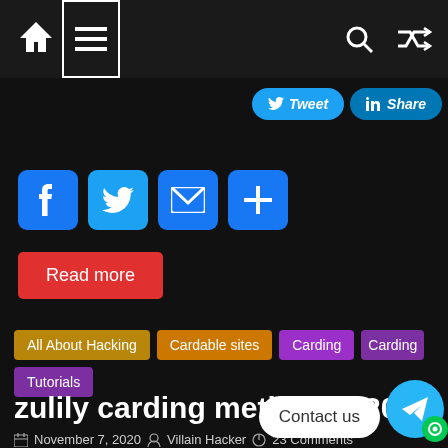Navigation bar with home icon, menu icon, search icon, shuffle icon
[Figure (screenshot): Social share buttons: Tweet (Twitter blue) and Share (LinkedIn blue) partially visible at top right]
[Figure (infographic): Social share icon buttons: Facebook (f), Twitter bird, Email (envelope), Plus (+) — all blue rounded squares]
Read more
All About Hacking  Cardable sites  Carding  Carding Tutorials
zulily carding method 2020
November 7, 2020  Villain Hacker  23 Comments
2020 zulily carding, app method cardi... carding method carding, carding methods 2020, cc carding metho...
[Figure (infographic): Contact us chat bubble with Telegram icon button and green chat bubble icon]